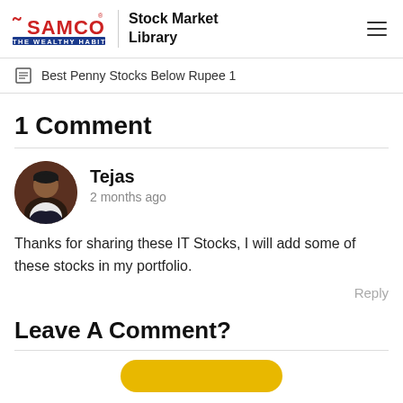SAMCO — The Wealthy Habit | Stock Market Library
Best Penny Stocks Below Rupee 1
1 Comment
Tejas
2 months ago

Thanks for sharing these IT Stocks, I will add some of these stocks in my portfolio.
Reply
Leave A Comment?